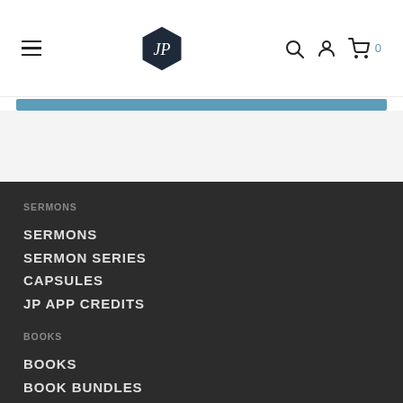JP [logo] navigation header with hamburger menu, search, account, and cart icons
SERMONS
SERMONS
SERMON SERIES
CAPSULES
JP APP CREDITS
BOOKS
BOOKS
BOOK BUNDLES